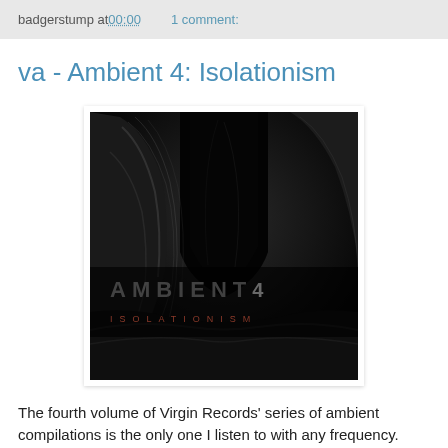badgerstump at 00:00    1 comment:
va - Ambient 4: Isolationism
[Figure (photo): Album cover for Ambient 4: Isolationism on Virgin Records. Black and white macro photograph of what appears to be teeth or insect parts. Text 'AMBIENT 4' and 'ISOLATIONISM' overlaid in the lower portion of the image.]
The fourth volume of Virgin Records' series of ambient compilations is the only one I listen to with any frequency.